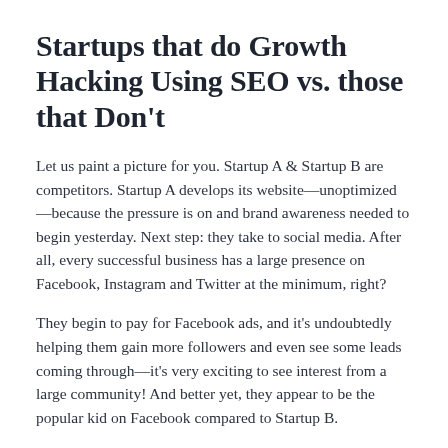Startups that do Growth Hacking Using SEO vs. those that Don't
Let us paint a picture for you. Startup A & Startup B are competitors. Startup A develops its website—unoptimized—because the pressure is on and brand awareness needed to begin yesterday. Next step: they take to social media. After all, every successful business has a large presence on Facebook, Instagram and Twitter at the minimum, right?
They begin to pay for Facebook ads, and it's undoubtedly helping them gain more followers and even see some leads coming through—it's very exciting to see interest from a large community! And better yet, they appear to be the popular kid on Facebook compared to Startup B.
Since it's working and providing gratification, they